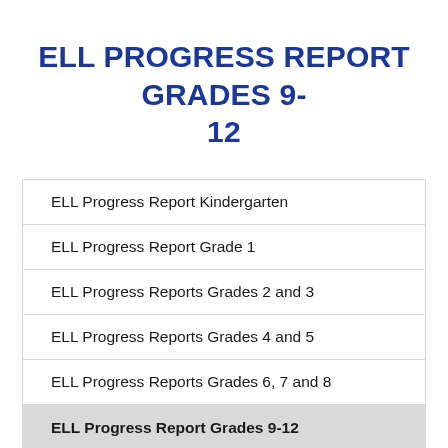ELL PROGRESS REPORT GRADES 9-12
ELL Progress Report Kindergarten
ELL Progress Report Grade 1
ELL Progress Reports Grades 2 and 3
ELL Progress Reports Grades 4 and 5
ELL Progress Reports Grades 6, 7 and 8
ELL Progress Report Grades 9-12